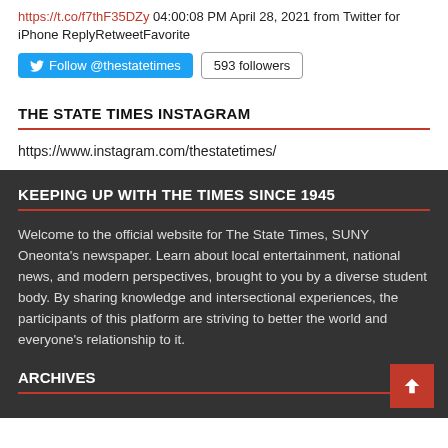https://t.co/f7thF35DZy 04:00:08 PM April 28, 2021 from Twitter for iPhone ReplyRetweetFavorite
[Figure (other): Follow @thestatetimes button and 593 followers badge]
THE STATE TIMES INSTAGRAM
https://www.instagram.com/thestatetimes/
KEEPING UP WITH THE TIMES SINCE 1945
Welcome to the official website for The State Times, SUNY Oneonta's newspaper. Learn about local entertainment, national news, and modern perspectives, brought to you by a diverse student body. By sharing knowledge and intersectional experiences, the participants of this platform are striving to better the world and everyone's relationship to it.
ARCHIVES